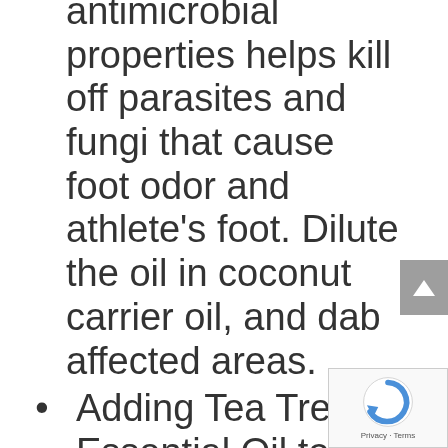antimicrobial properties helps kill off parasites and fungi that cause foot odor and athlete's foot. Dilute the oil in coconut carrier oil, and dab affected areas.
Adding Tea Tree Essential Oil to a home diffuser can help eliminate spores, while spraying tea tree based cleaner on areas that often get moldy –shower door